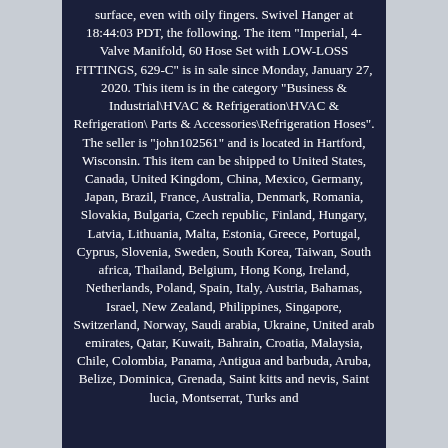surface, even with oily fingers. Swivel Hanger at 18:44:03 PDT, the following. The item "Imperial, 4-Valve Manifold, 60 Hose Set with LOW-LOSS FITTINGS, 629-C" is in sale since Monday, January 27, 2020. This item is in the category "Business & Industrial\HVAC & Refrigeration\HVAC & Refrigeration\ Parts & Accessories\Refrigeration Hoses". The seller is "john102561" and is located in Hartford, Wisconsin. This item can be shipped to United States, Canada, United Kingdom, China, Mexico, Germany, Japan, Brazil, France, Australia, Denmark, Romania, Slovakia, Bulgaria, Czech republic, Finland, Hungary, Latvia, Lithuania, Malta, Estonia, Greece, Portugal, Cyprus, Slovenia, Sweden, South Korea, Taiwan, South africa, Thailand, Belgium, Hong Kong, Ireland, Netherlands, Poland, Spain, Italy, Austria, Bahamas, Israel, New Zealand, Philippines, Singapore, Switzerland, Norway, Saudi arabia, Ukraine, United arab emirates, Qatar, Kuwait, Bahrain, Croatia, Malaysia, Chile, Colombia, Panama, Antigua and barbuda, Aruba, Belize, Dominica, Grenada, Saint kitts and nevis, Saint lucia, Montserrat, Turks and